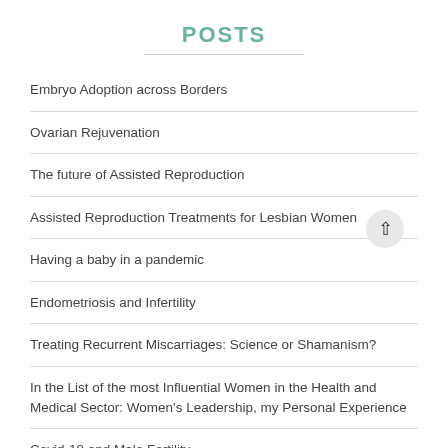POSTS
Embryo Adoption across Borders
Ovarian Rejuvenation
The future of Assisted Reproduction
Assisted Reproduction Treatments for Lesbian Women
Having a baby in a pandemic
Endometriosis and Infertility
Treating Recurrent Miscarriages: Science or Shamanism?
In the List of the most Influential Women in the Health and Medical Sector: Women's Leadership, my Personal Experience
Covid-19 and Male Fertility